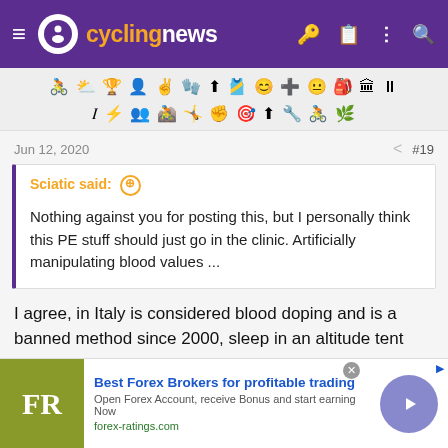cyclingnews
[Figure (illustration): Toolbar with cycling-related emoji/icon symbols in two rows]
Jun 12, 2020  < #19
Sciatic said: ⊕
Nothing against you for posting this, but I personally think this PE stuff should just go in the clinic. Artificially manipulating blood values ...
I agree, in Italy is considered blood doping and is a banned method since 2000, sleep in an altitude tent here and you'll likely get a 4 years ban for "using a method that artificially manipulates the blood
[Figure (other): Advertisement banner: Best Forex Brokers for profitable trading - forex-ratings.com]